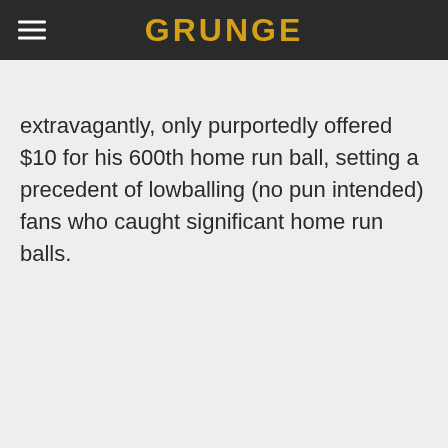GRUNGE
extravagantly, only purportedly offered $10 for his 600th home run ball, setting a precedent of lowballing (no pun intended) fans who caught significant home run balls.